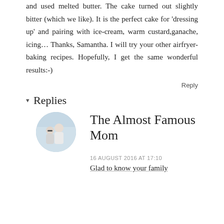and used melted butter. The cake turned out slightly bitter (which we like). It is the perfect cake for 'dressing up' and pairing with ice-cream, warm custard,ganache, icing… Thanks, Samantha. I will try your other airfryer-baking recipes. Hopefully, I get the same wonderful results:-)
Reply
▾ Replies
[Figure (photo): Circular avatar photo of two people]
The Almost Famous Mom
16 AUGUST 2016 AT 17:10
Glad to know your family